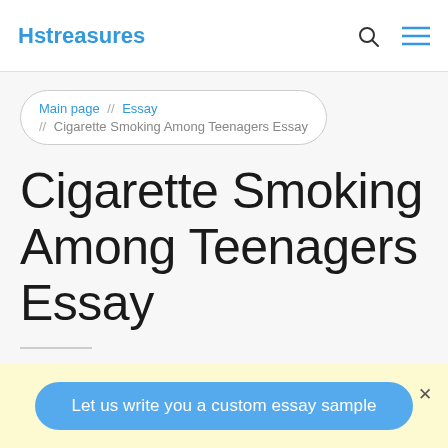Hstreasures
Main page  //  Essay  //  Cigarette Smoking Among Teenagers Essay
Cigarette Smoking Among Teenagers Essay
Wh...
Let us write you a custom essay sample